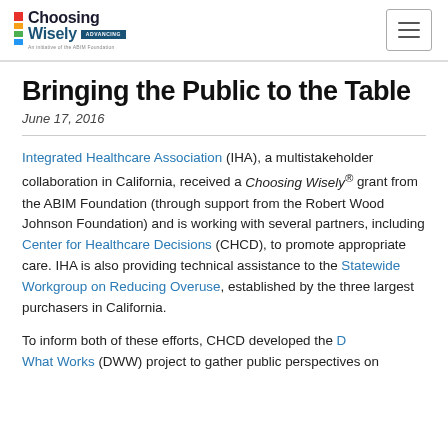[Figure (logo): Choosing Wisely logo with colorful blocks and navigation hamburger menu]
Bringing the Public to the Table
June 17, 2016
Integrated Healthcare Association (IHA), a multistakeholder collaboration in California, received a Choosing Wisely® grant from the ABIM Foundation (through support from the Robert Wood Johnson Foundation) and is working with several partners, including Center for Healthcare Decisions (CHCD), to promote appropriate care. IHA is also providing technical assistance to the Statewide Workgroup on Reducing Overuse, established by the three largest purchasers in California.
To inform both of these efforts, CHCD developed the Deciding What Works (DWW) project to gather public perspectives on